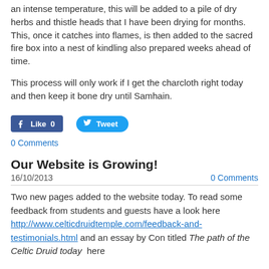an intense temperature, this will be added to a pile of dry herbs and thistle heads that I have been drying for months. This, once it catches into flames, is then added to the sacred fire box into a nest of kindling also prepared weeks ahead of time.
This process will only work if I get the charcloth right today and then keep it bone dry until Samhain.
[Figure (screenshot): Social sharing buttons: Facebook Like (0) button and Twitter Tweet button]
0 Comments
Our Website is Growing!
16/10/2013    0 Comments
Two new pages added to the website today. To read some feedback from students and guests have a look here http://www.celticdruidtemple.com/feedback-and-testimonials.html and an essay by Con titled The path of the Celtic Druid today here